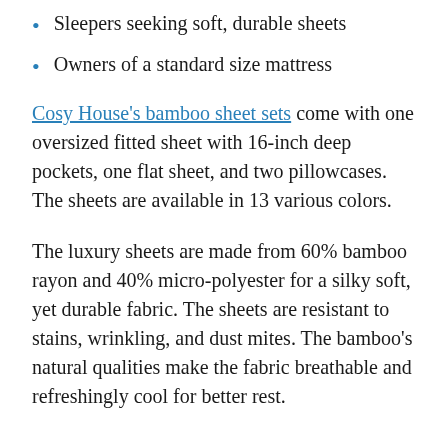Sleepers seeking soft, durable sheets
Owners of a standard size mattress
Cosy House's bamboo sheet sets come with one oversized fitted sheet with 16-inch deep pockets, one flat sheet, and two pillowcases. The sheets are available in 13 various colors.
The luxury sheets are made from 60% bamboo rayon and 40% micro-polyester for a silky soft, yet durable fabric. The sheets are resistant to stains, wrinkling, and dust mites. The bamboo's natural qualities make the fabric breathable and refreshingly cool for better rest.